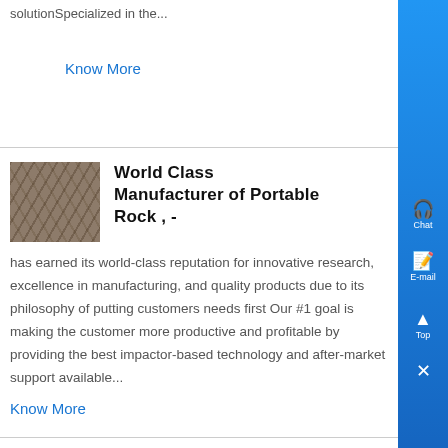solutionSpecialized in the...
Know More
World Class Manufacturer of Portable Rock , -
[Figure (photo): Thumbnail image of rock or stone surface with rough texture]
has earned its world-class reputation for innovative research, excellence in manufacturing, and quality products due to its philosophy of putting customers needs first Our #1 goal is making the customer more productive and profitable by providing the best impactor-based technology and after-market support available...
Know More